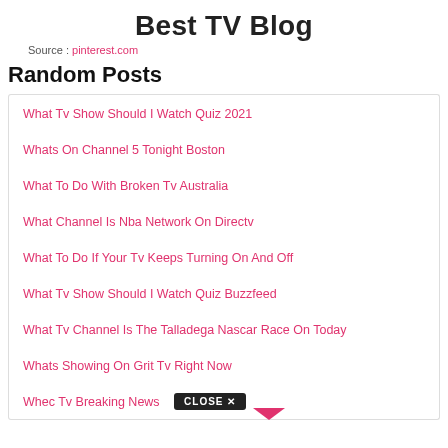Best TV Blog
Source : pinterest.com
Random Posts
What Tv Show Should I Watch Quiz 2021
Whats On Channel 5 Tonight Boston
What To Do With Broken Tv Australia
What Channel Is Nba Network On Directv
What To Do If Your Tv Keeps Turning On And Off
What Tv Show Should I Watch Quiz Buzzfeed
What Tv Channel Is The Talladega Nascar Race On Today
Whats Showing On Grit Tv Right Now
Whec Tv Breaking News